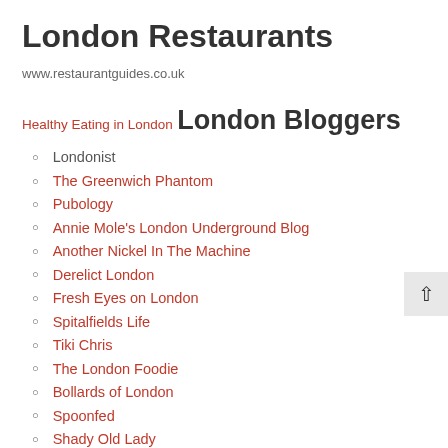London Restaurants
www.restaurantguides.co.uk
Healthy Eating in London
London Bloggers
Londonist
The Greenwich Phantom
Pubology
Annie Mole's London Underground Blog
Another Nickel In The Machine
Derelict London
Fresh Eyes on London
Spitalfields Life
Tiki Chris
The London Foodie
Bollards of London
Spoonfed
Shady Old Lady
The London Cyclist